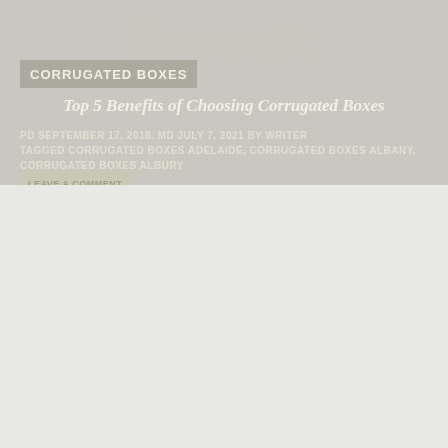CORRUGATED BOXES
Top 5 Benefits of Choosing Corrugated Boxes
PD SEPTEMBER 17, 2018. MD JULY 7, 2021 BY WRITER
TAGGED CORRUGATED BOXES ADELAIDE, CORRUGATED BOXES ALBANY, CORRUGATED BOXES ALBURY
LEAVE A COMMENT